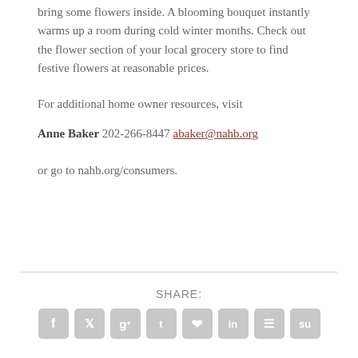bring some flowers inside. A blooming bouquet instantly warms up a room during cold winter months. Check out the flower section of your local grocery store to find festive flowers at reasonable prices.
For additional home owner resources, visit
Anne Baker 202-266-8447 abaker@nahb.org
or go to nahb.org/consumers.
[Figure (infographic): Social share icons row: SHARE: label with Facebook, Twitter, Google+, Tumblr, Pinterest, LinkedIn, Buffer, StumbleUpon icon buttons]